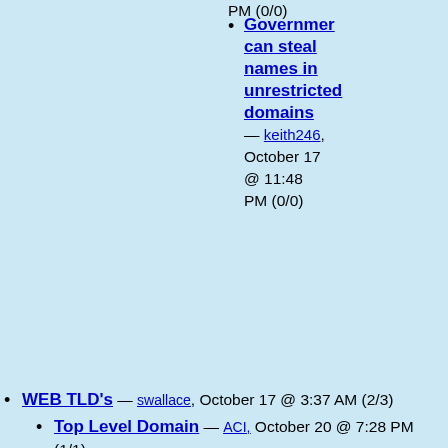PM (0/0)
Government can steal names in unrestricted domains — keith246, October 17 @ 11:48 PM (0/0)
WEB TLD's — swallace, October 17 @ 3:37 AM (2/3)
Top Level Domain — ACI, October 20 @ 7:28 PM (1/1)
Top Level Domain — ACI, October 20 @ 7:34 PM (0/0)
After thorough research of applications, I agree with IOD... — zzmars, October 18 @ 6:37 PM (0/0)
BE FAIR — billlevy, October 17 @ 2:17 AM (0/0)
Explanation please... — huguesdb, October 17 @ 12:55 AM (2/6)
it makes money — keith246, October 17 @ 4:38 AM (1/1)
Who makes money? — huguesdb, October 17 @ 11:23 AM (0/0)
simple answer? — Ray, October 17 @ 2:13 AM (1/3)